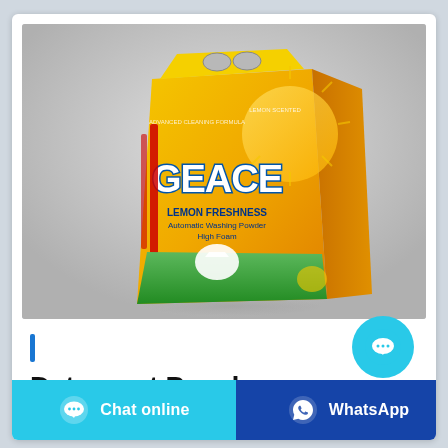[Figure (photo): Yellow bag of GEACE Lemon Freshness Automatic Washing Powder detergent, photographed against a light gray background.]
Detergent Powder
[Figure (infographic): Two call-to-action buttons at the bottom: a cyan 'Chat online' button on the left and a dark blue 'WhatsApp' button on the right. Also a floating cyan chat bubble button on the right side of the card.]